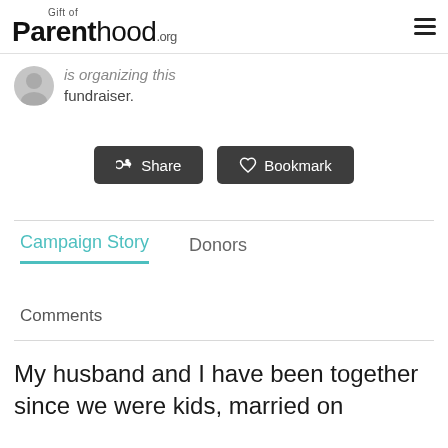Gift of Parenthood.org
is organizing this fundraiser.
Share  Bookmark
Campaign Story
Donors
Comments
My husband and I have been together since we were kids, married on